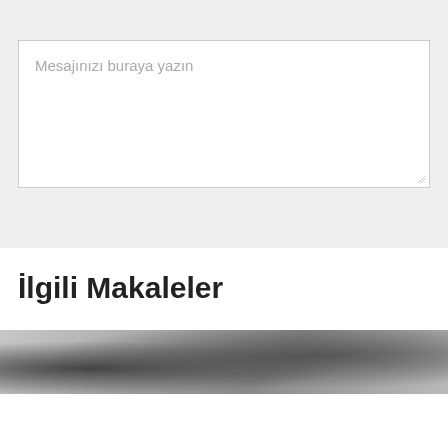[Figure (screenshot): A text area input box with gray background, containing placeholder text 'Mesajınızı buraya yazın' and a resize handle in the lower right corner.]
İlgili Makaleler
[Figure (photo): A partial black and white photo at the bottom of the page, appearing to show documents or papers with a pen.]